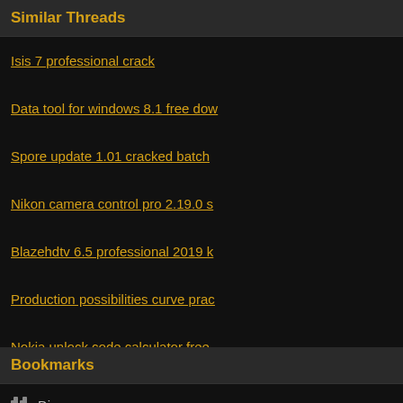Similar Threads
Isis 7 professional crack
Data tool for windows 8.1 free dow
Spore update 1.01 cracked batch
Nikon camera control pro 2.19.0 s
Blazehdtv 6.5 professional 2019 k
Production possibilities curve prac
Nokia unlock code calculator free
Bookmarks
Digg
del.icio.us
StumbleUpon
Google